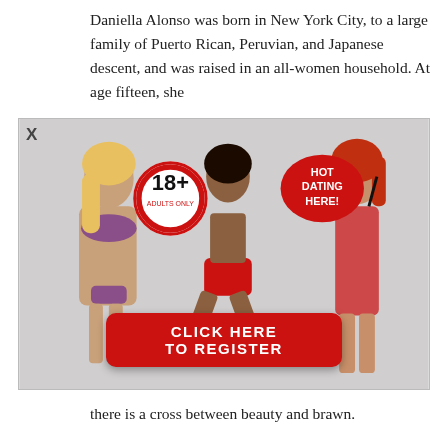Daniella Alonso was born in New York City, to a large family of Puerto Rican, Peruvian, and Japanese descent, and was raised in an all-women household. At age fifteen, she
[Figure (infographic): Adult dating advertisement popup with three women in swimwear, an 18+ Adults Only badge, a HOT DATING HERE! badge, and a red CLICK HERE TO REGISTER button. An X close button is in the top-left corner.]
there is a cross between beauty and brawn.
Michelle always knew she was
Next related articles: